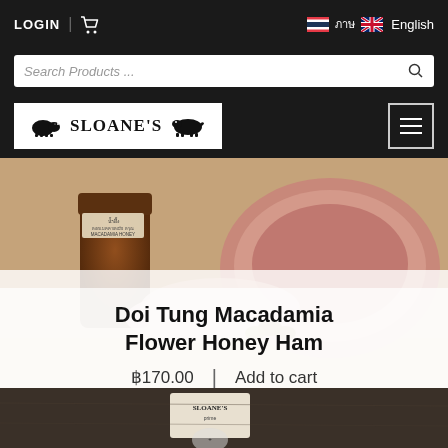LOGIN | [cart] [Thai flag] ภาษ [UK flag] English
Search Products ...
[Figure (logo): Sloane's butcher shop logo with pig and cow silhouettes and text SLOANE'S]
[Figure (photo): Close-up photo of Doi Tung Macadamia Honey jar with sliced ham and macadamia nuts on a wooden board]
Doi Tung Macadamia Flower Honey Ham
฿170.00  |  Add to cart
[Figure (photo): Bottom partial photo showing Sloane's branded packaging on a dark wooden surface]